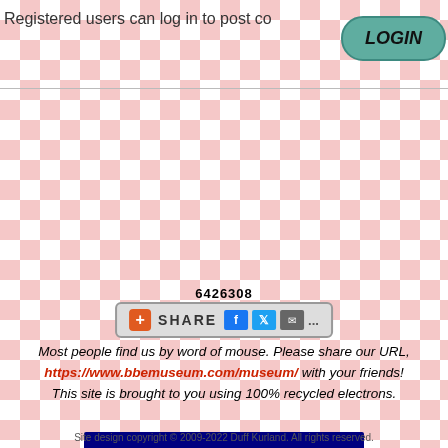Registered users can log in to post co
[Figure (other): LOGIN button - teal/green rounded pill-shaped button with italic bold text]
6426308
[Figure (other): Share button bar with plus icon, SHARE label, Facebook, Twitter, email icons and ...]
Most people find us by word of mouse. Please share our URL, https://www.bbemuseum.com/museum/ with your friends! This site is brought to you using 100% recycled electrons.
[Figure (other): Dark navy blue banner box with white bold text: Total trivia questions served: 2,185,827]
Site design copyright © 2009-2022 Duff Kurland. All rights reserved.